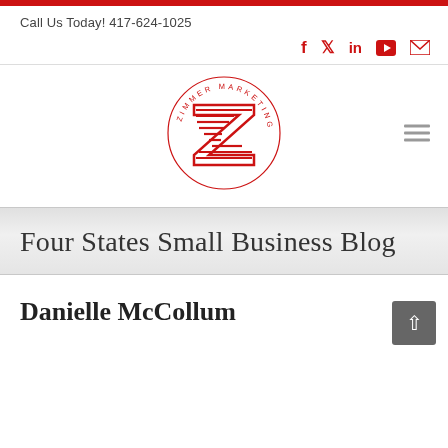Call Us Today! 417-624-1025
[Figure (logo): Zimmer Marketing logo — red Z with horizontal lines inside a circle with 'ZIMMER MARKETING' text around the border]
Four States Small Business Blog
Danielle McCollum